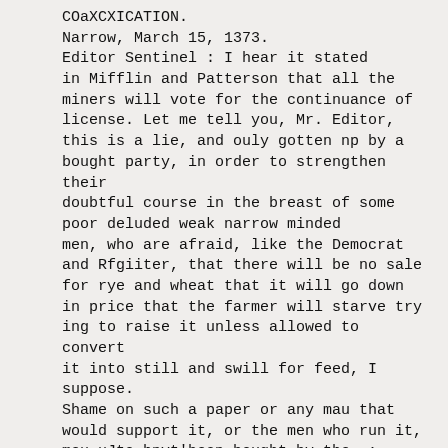COaXCXICATION.
Narrow, March 15, 1373.
Editor Sentinel : I hear it stated in Mifflin and Patterson that all the miners will vote for the continuance of license. Let me tell you, Mr. Editor, this is a lie, and ouly gotten np by a bought party, in order to strengthen their doubtful course in the breast of some poor deluded weak narrow minded men, who are afraid, like the Democrat and Rfgiiter, that there will be no sale for rye and wheat that it will go down in price that the farmer will starve try ing to raise it unless allowed to convert it into still and swill for feed, I suppose. Shame on such a paper or any mau that would support it, or the men who run it, meu uJto hnvt'becn bought by the. ;- key men of the country, I question, can a man be a christian and a blasphemer I Could he insinuate or allow any man to say through his medium that in order to make things lively aud more festive,